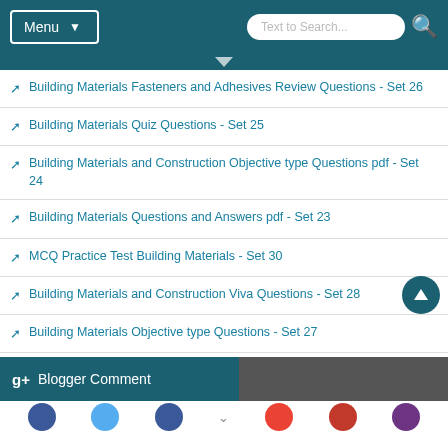Menu | Text to Search...
Building Materials Fasteners and Adhesives Review Questions - Set 26
Building Materials Quiz Questions - Set 25
Building Materials and Construction Objective type Questions pdf - Set 24
Building Materials Questions and Answers pdf - Set 23
MCQ Practice Test Building Materials - Set 30
Building Materials and Construction Viva Questions - Set 28
Building Materials Objective type Questions - Set 27
Blogger Comment